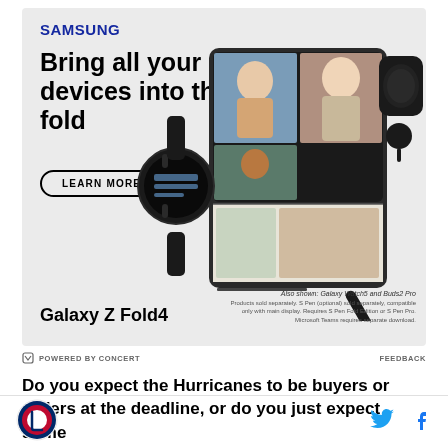[Figure (photo): Samsung advertisement featuring Galaxy Z Fold4, Galaxy Watch5, and Buds2 Pro on a light gray background. The ad shows a Samsung Galaxy Z Fold4 smartphone open in foldable mode displaying a video call with three people, alongside a smartwatch and wireless earbuds. Text reads: SAMSUNG, Bring all your devices into the fold, LEARN MORE, Galaxy Z Fold4. Also shown: Galaxy Watch5 and Buds2 Pro. Small disclaimer text about products sold separately.]
POWERED BY CONCERT   FEEDBACK
Do you expect the Hurricanes to be buyers or sellers at the deadline, or do you just expect some
[Figure (logo): Circular site logo with red, white and blue hockey/sports design on bottom bar]
[Figure (logo): Twitter bird icon in cyan blue]
[Figure (logo): Facebook f icon in blue]